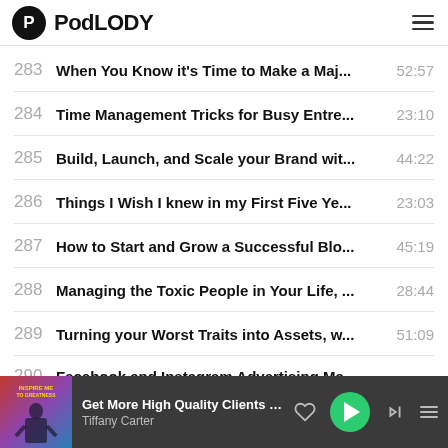[Figure (logo): PodLODY app logo with circular black icon and bold text]
283  When You Know it's Time to Make a Maj...  52:57
284  Time Management Tricks for Busy Entre...  23:10
285  Build, Launch, and Scale your Brand wit...  44:22
286  Things I Wish I knew in my First Five Ye...  23:03
287  How to Start and Grow a Successful Blo...  45:19
288  Managing the Toxic People in Your Life, ...  28:44
289  Turning your Worst Traits into Assets, w...  51:09
290  Facebook and Instagram Advertising Ma...  (partial)
Get More High Quality Clients Quic... — Tiffany Carter (player bar)